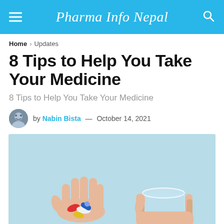Pharma Info Nepal
Home > Updates
8 Tips to Help You Take Your Medicine
8 Tips to Help You Take Your Medicine
by Nabin Bista — October 14, 2021
[Figure (photo): Two hands held up against a light blue background: one palm open holding colorful pills (red, yellow, white, blue), and another hand holding a clear glass of water.]